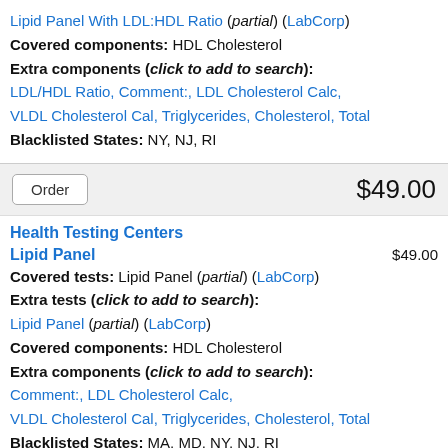Lipid Panel With LDL:HDL Ratio (partial) (LabCorp)
Covered components: HDL Cholesterol
Extra components (click to add to search):
LDL/HDL Ratio, Comment:, LDL Cholesterol Calc, VLDL Cholesterol Cal, Triglycerides, Cholesterol, Total
Blacklisted States: NY, NJ, RI
Order   $49.00
Health Testing Centers
Lipid Panel   $49.00
Covered tests: Lipid Panel (partial) (LabCorp)
Extra tests (click to add to search):
Lipid Panel (partial) (LabCorp)
Covered components: HDL Cholesterol
Extra components (click to add to search):
Comment:, LDL Cholesterol Calc, VLDL Cholesterol Cal, Triglycerides, Cholesterol, Total
Blacklisted States: MA, MD, NY, NJ, RI